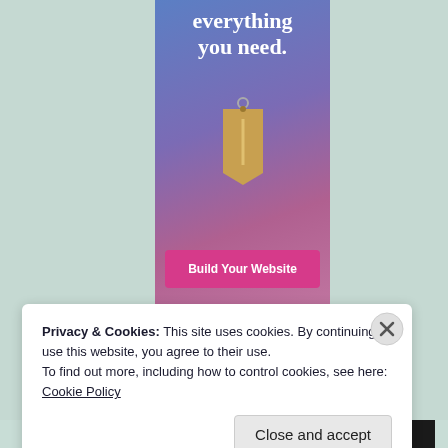[Figure (screenshot): Advertisement banner with blue-to-purple-to-pink gradient background. White serif bold text reads 'everything you need.' with a hanging price tag illustration. Below is a pink 'Build Your Website' button.]
Privacy & Cookies: This site uses cookies. By continuing to use this website, you agree to their use.
To find out more, including how to control cookies, see here: Cookie Policy